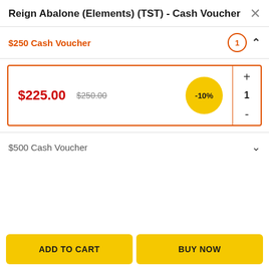Reign Abalone (Elements) (TST) - Cash Voucher
$250 Cash Voucher
$225.00  $250.00  -10%  1
$500 Cash Voucher
ADD TO CART
BUY NOW